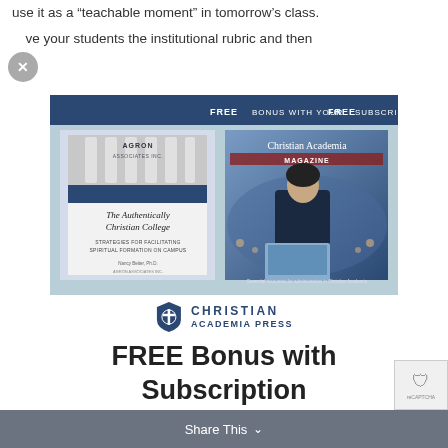use it as a “teachable moment” in tomorrow’s class.
ve your students the institutional rubric and then
[Figure (illustration): Advertisement for Christian Academia Press showing two publications: 'The Authentically Christian College' booklet by Agron Associates Inc. and a 'Christian Academia Magazine', with the Christian Academia Press logo below.]
FREE Bonus with Subscription
Share This
The Authentically Christian